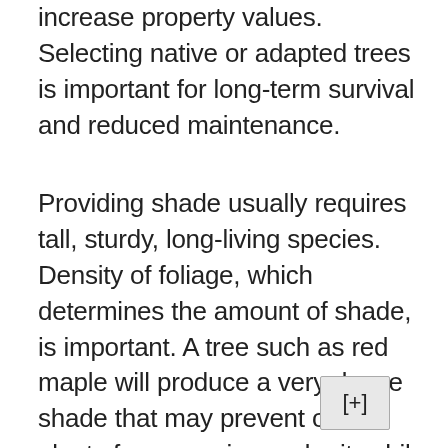increase property values. Selecting native or adapted trees is important for long-term survival and reduced maintenance.
Providing shade usually requires tall, sturdy, long-living species. Density of foliage, which determines the amount of shade, is important. A tree such as red maple will produce a very dense shade that may prevent other plants from growing under it, while a Kentucky coffeetree will produce a light partial shade, allowing some plants enough sunlight to grow. Deciduous trees should be used to shade the south and west windows of a home in the summer, allowing the sun to penetrate in the w...